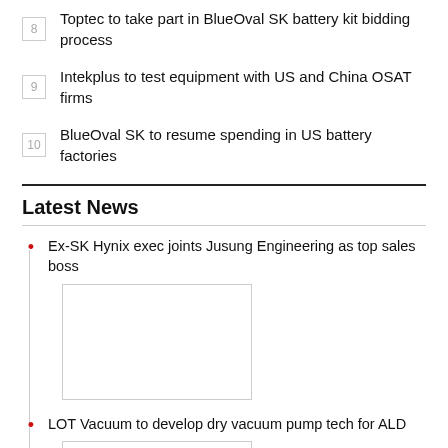8  Toptec to take part in BlueOval SK battery kit bidding process
9  Intekplus to test equipment with US and China OSAT firms
10  BlueOval SK to resume spending in US battery factories
Latest News
Ex-SK Hynix exec joints Jusung Engineering as top sales boss
[Figure (photo): Image placeholder for Ex-SK Hynix exec article]
LOT Vacuum to develop dry vacuum pump tech for ALD
[Figure (photo): Image placeholder for LOT Vacuum article]